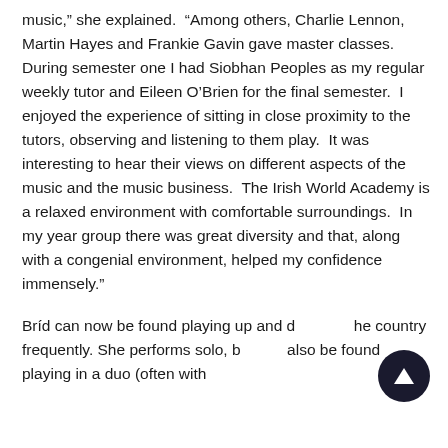music,” she explained.  “Among others, Charlie Lennon, Martin Hayes and Frankie Gavin gave master classes.  During semester one I had Siobhan Peoples as my regular weekly tutor and Eileen O’Brien for the final semester.  I enjoyed the experience of sitting in close proximity to the tutors, observing and listening to them play.  It was interesting to hear their views on different aspects of the music and the music business.  The Irish World Academy is a relaxed environment with comfortable surroundings.  In my year group there was great diversity and that, along with a congenial environment, helped my confidence immensely.”
Brí d can now be found playing up and down the country frequently. She performs solo, but can also be found playing in a duo (often with